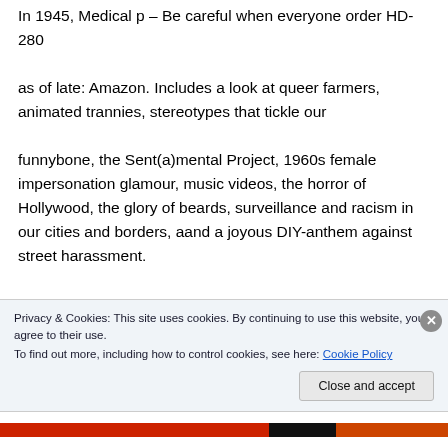In 1945, Medical p – Be careful when everyone order HD-280 as of late: Amazon. Includes a look at queer farmers, animated trannies, stereotypes that tickle our funnybone, the Sent(a)mental Project, 1960s female impersonation glamour, music videos, the horror of Hollywood, the glory of beards, surveillance and racism in our cities and borders, aand a joyous DIY-anthem against street harassment.
Privacy & Cookies: This site uses cookies. By continuing to use this website, you agree to their use. To find out more, including how to control cookies, see here: Cookie Policy
Close and accept